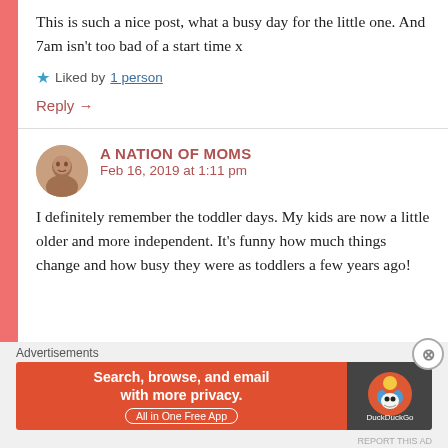This is such a nice post, what a busy day for the little one. And 7am isn't too bad of a start time x
★ Liked by 1 person
Reply →
A NATION OF MOMS
Feb 16, 2019 at 1:11 pm
I definitely remember the toddler days. My kids are now a little older and more independent. It's funny how much things change and how busy they were as toddlers a few years ago!
[Figure (other): DuckDuckGo advertisement banner: 'Search, browse, and email with more privacy. All in One Free App' on orange background with DuckDuckGo duck logo on dark background]